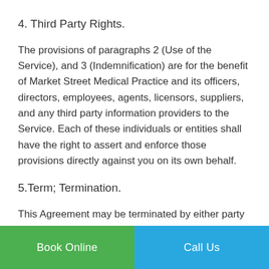4. Third Party Rights.
The provisions of paragraphs 2 (Use of the Service), and 3 (Indemnification) are for the benefit of Market Street Medical Practice and its officers, directors, employees, agents, licensors, suppliers, and any third party information providers to the Service. Each of these individuals or entities shall have the right to assert and enforce those provisions directly against you on its own behalf.
5.Term; Termination.
This Agreement may be terminated by either party without notice at any time for any reason. The provisions of paragraphs 1 (Copyright, Licenses and
Book Online | Call Us